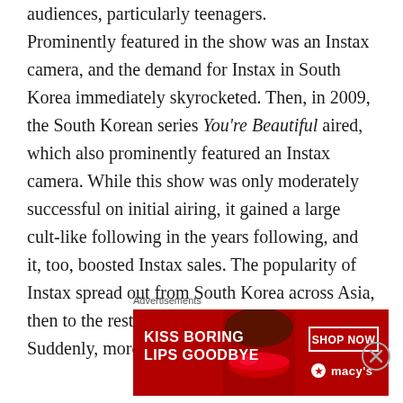audiences, particularly teenagers. Prominently featured in the show was an Instax camera, and the demand for Instax in South Korea immediately skyrocketed. Then, in 2009, the South Korean series You're Beautiful aired, which also prominently featured an Instax camera. While this show was only moderately successful on initial airing, it gained a large cult-like following in the years following, and it, too, boosted Instax sales. The popularity of Instax spread out from South Korea across Asia, then to the rest of the world, including America. Suddenly, more than a decade after it was
Advertisements
[Figure (illustration): Advertisement banner for Macy's with text 'KISS BORING LIPS GOODBYE', a woman's face with red lips, and a 'SHOP NOW' button with the Macy's star logo.]